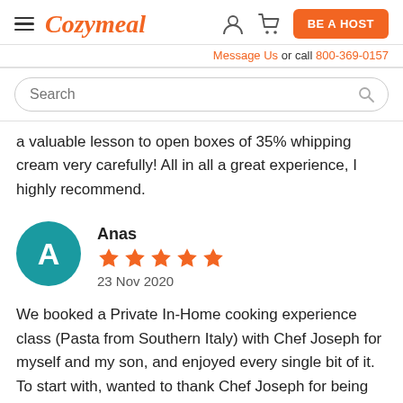Cozymeal — BE A HOST — Message Us or call 800-369-0157 — Search
a valuable lesson to open boxes of 35% whipping cream very carefully! All in all a great experience, I highly recommend.
Anas
5 stars
23 Nov 2020
We booked a Private In-Home cooking experience class (Pasta from Southern Italy) with Chef Joseph for myself and my son, and enjoyed every single bit of it. To start with, wanted to thank Chef Joseph for being extra flexible and accommodating - due to different circumstances we managed to change the format, date